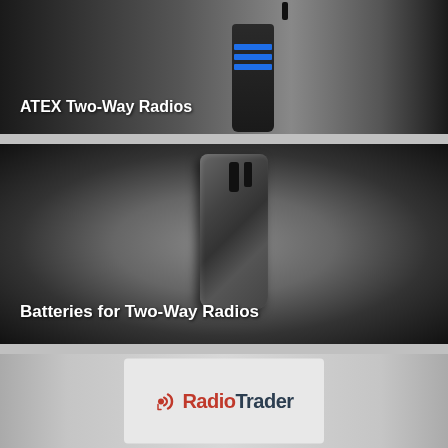[Figure (photo): ATEX Two-Way Radio (handheld radio with blue stripes) on dark gradient background with text label 'ATEX Two-Way Radios']
[Figure (photo): Battery pack for two-way radio on dark radial gradient background with text label 'Batteries for Two-Way Radios']
[Figure (logo): RadioTrader logo on light grey card/background — red stylized 'rt' icon followed by 'Radio' in red and 'Trader' in dark grey]